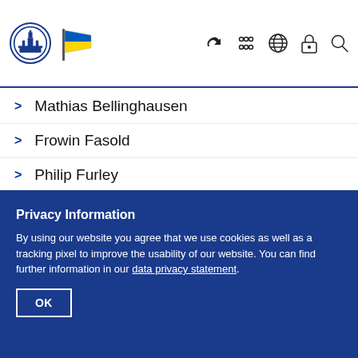University logo and navigation header
Mathias Bellinghausen
Frowin Fasold
Philip Furley
Andreas Grunz
Stephanie Hüttermann
Privacy Information
By using our website you agree that we use cookies as well as a tracking pixel to improve the usability of our website. You can find further information in our data privacy statement.
OK